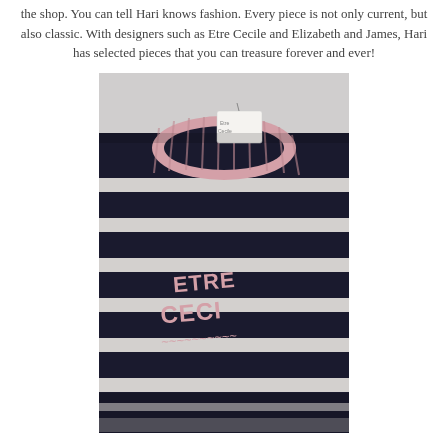the shop. You can tell Hari knows fashion. Every piece is not only current, but also classic. With designers such as Etre Cecile and Elizabeth and James, Hari has selected pieces that you can treasure forever and ever!
[Figure (photo): A folded black and white striped sweater with a pink ribbed collar and 'ETRE CECILE' written in pink lettering on the front, displayed against a light background with a price tag visible.]